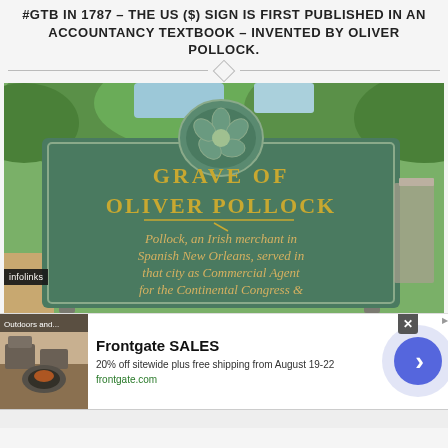#GTB IN 1787 – THE US ($) SIGN IS FIRST PUBLISHED IN AN ACCOUNTANCY TEXTBOOK – INVENTED BY OLIVER POLLOCK.
[Figure (photo): A green historical marker sign reading 'GRAVE OF OLIVER POLLOCK' with text 'Pollock, an Irish merchant in Spanish New Orleans, served in that city as Commercial Agent for the Continental Congress &' with a floral relief at the top, photographed outdoors among trees.]
infolinks
Frontgate SALES – 20% off sitewide plus free shipping from August 19-22 – frontgate.com